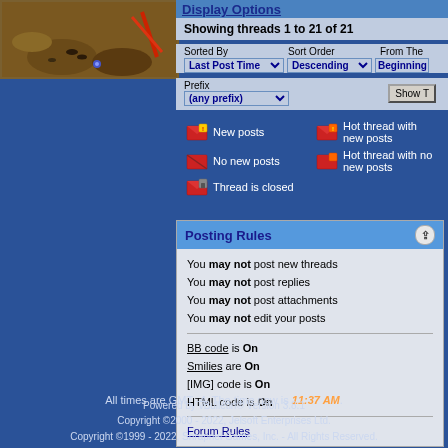[Figure (screenshot): Top-left image showing a game scene with dirt/sand terrain and small objects]
Display Options
Showing threads 1 to 21 of 21
Sorted By: Last Post Time | Sort Order: Descending | From The: Beginning
Prefix: (any prefix)
New posts
Hot thread with new posts
No new posts
Hot thread with no new posts
Thread is closed
Posting Rules
You may not post new threads
You may not post replies
You may not post attachments
You may not edit your posts
BB code is On
Smilies are On
[IMG] code is On
HTML code is On
Forum Rules
All times are GMT -4. The time now is 11:37 AM.
Powered by vBulletin® Version 3.8.1
Copyright ©2000 - 2022, Jelsoft Enterprises Ltd.
Copyright ©1999 - 2022, Shrapnel Games, Inc. - All Rights Reserved.